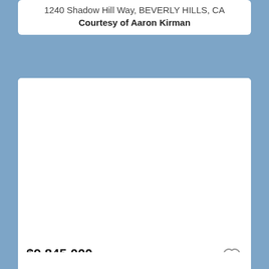1240 Shadow Hill Way, BEVERLY HILLS, CA
Courtesy of Aaron Kirman
[Figure (photo): Property photo placeholder (white/blank image area) for 1836 Loma Vista Drive listing]
$9,845,000
4 bd, 8 full ba, 5,423 sqft
1836 Loma Vista Drive, BEVERLY HILLS, CA
Courtesy of Jade Mills